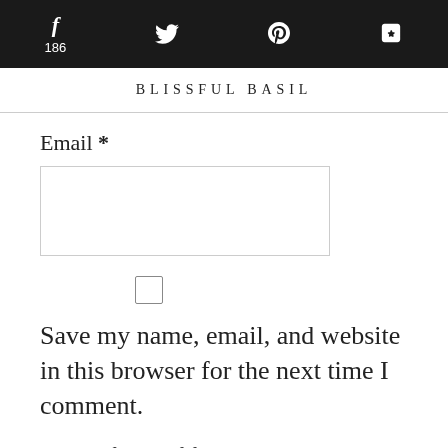f 186 [twitter] p 377 [reddit]
BLISSFUL BASIL
Email *
Save my name, email, and website in this browser for the next time I comment.
Notify me of follow-up comments by email.
POST COMMENT